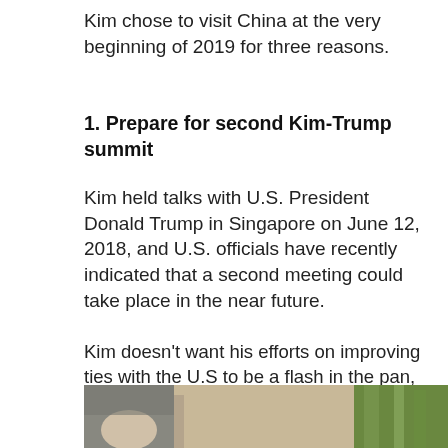Kim chose to visit China at the very beginning of 2019 for three reasons.
1. Prepare for second Kim-Trump summit
Kim held talks with U.S. President Donald Trump in Singapore on June 12, 2018, and U.S. officials have recently indicated that a second meeting could take place in the near future.
Kim doesn't want his efforts on improving ties with the U.S to be a flash in the pan, Li said. Instead, he is putting his best foot forward to talk with Washington despite their divergent stances on denuclearization.
[Figure (photo): Partial photo of figures outdoors, bottom of page]